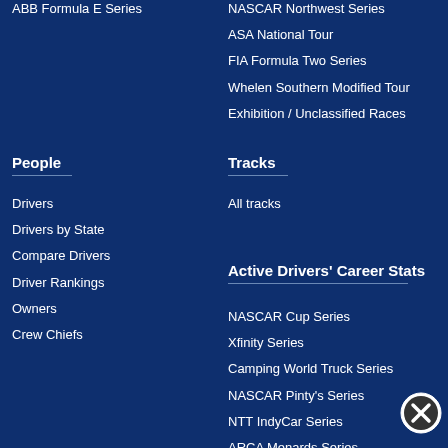ABB Formula E Series
NASCAR Northwest Series
ASA National Tour
FIA Formula Two Series
Whelen Southern Modified Tour
Exhibition / Unclassified Races
People
Tracks
Drivers
All tracks
Drivers by State
Compare Drivers
Active Drivers’ Career Stats
Driver Rankings
NASCAR Cup Series
Owners
Xfinity Series
Crew Chiefs
Camping World Truck Series
NASCAR Pinty’s Series
NTT IndyCar Series
ARCA Menards Series
[Figure (illustration): Close button icon (circle with X symbol)]